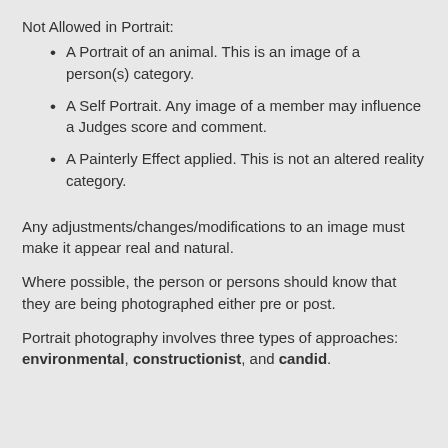Not Allowed in Portrait:
A Portrait of an animal. This is an image of a person(s) category.
A Self Portrait. Any image of a member may influence a Judges score and comment.
A Painterly Effect applied. This is not an altered reality category.
Any adjustments/changes/modifications to an image must make it appear real and natural.
Where possible, the person or persons should know that they are being photographed either pre or post.
Portrait photography involves three types of approaches: environmental, constructionist, and candid.